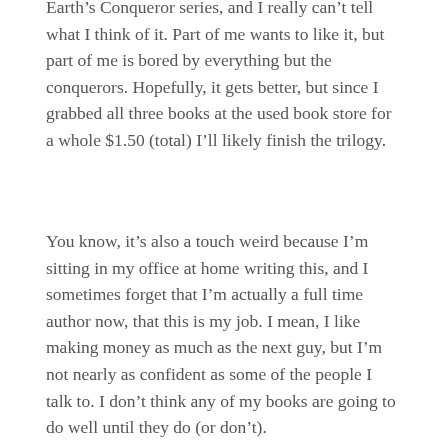Earth's Conqueror series, and I really can't tell what I think of it. Part of me wants to like it, but part of me is bored by everything but the conquerors. Hopefully, it gets better, but since I grabbed all three books at the used book store for a whole $1.50 (total) I'll likely finish the trilogy.
You know, it's also a touch weird because I'm sitting in my office at home writing this, and I sometimes forget that I'm actually a full time author now, that this is my job. I mean, I like making money as much as the next guy, but I'm not nearly as confident as some of the people I talk to. I don't think any of my books are going to do well until they do (or don't).